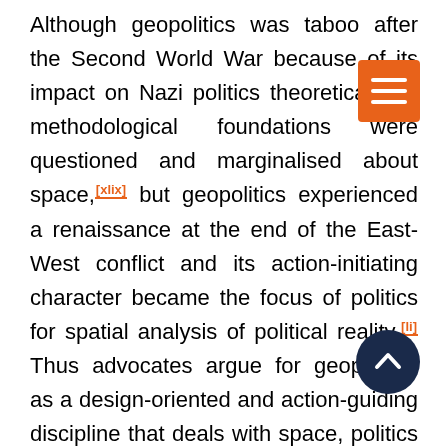Although geopolitics was taboo after the Second World War because of its impact on Nazi politics, theoretical and methodological foundations were questioned and marginalised about space,[xlix] but geopolitics experienced a renaissance at the end of the East-West conflict and its action-initiating character became the focus of politics for spatial analysis of political reality.[li] Thus advocates argue for geopolitics as a design-oriented and action-guiding discipline that deals with space, politics and power.[lii] Geopolitics captures spatial relationships and addresses the political reality in the context of politics and geography. Here, in respect of the Spatial Turn, it is argued that …